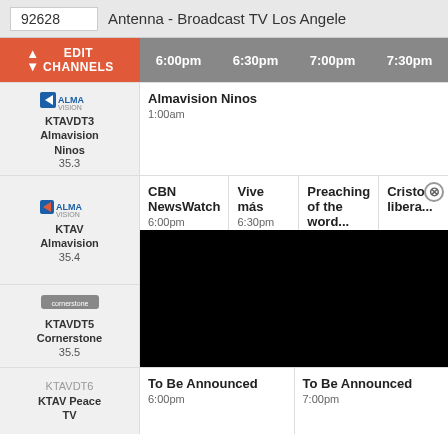92628
Antenna - Broadcast TV Los Angeles
| Channel | 6:00pm | 6:30pm | 7:00pm | 7:30pm |
| --- | --- | --- | --- | --- |
| KTAVDT3 Almavision Ninos 35.3 | Almavision Ninos 1:00am |  |  |  |
| KTAV Almavision 35.4 | CBN NewsWatch 6:00pm | Vive más 6:30pm | Preaching of the word... | Cristo libera... |
| KTAVDT5 Cornerstone 35.5 | Cornerstone TV 1:00am |  |  |  |
| KTAVDT6 KTAV Peace TV | To Be Announced 6:00pm |  | To Be Announced 7:00pm |  |